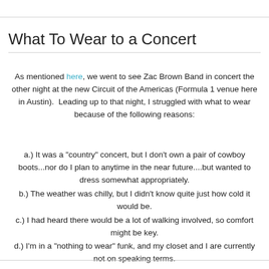What To Wear to a Concert
As mentioned here, we went to see Zac Brown Band in concert the other night at the new Circuit of the Americas (Formula 1 venue here in Austin).  Leading up to that night, I struggled with what to wear because of the following reasons:
a.) It was a "country" concert, but I don't own a pair of cowboy boots...nor do I plan to anytime in the near future....but wanted to dress somewhat appropriately.
b.) The weather was chilly, but I didn't know quite just how cold it would be.
c.) I had heard there would be a lot of walking involved, so comfort might be key.
d.) I'm in a "nothing to wear" funk, and my closet and I are currently not on speaking terms.